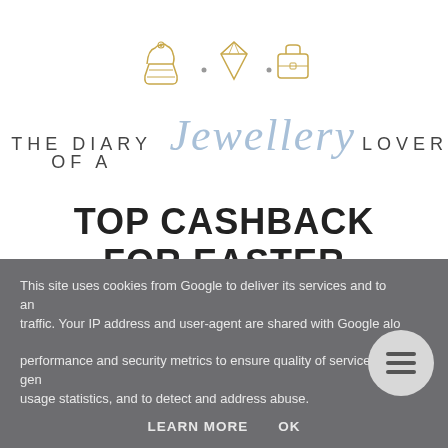[Figure (logo): Blog logo: icons of cupcake, diamond ring, and suitcase in gold/outline style above the text 'THE DIARY OF A Jewellery LOVER']
TOP CASHBACK FOR EASTER WITH HOTEL CHOCOLAT
MONDAY, 7 APRIL 2014
This site uses cookies from Google to deliver its services and to analyze traffic. Your IP address and user-agent are shared with Google along with performance and security metrics to ensure quality of service, generate usage statistics, and to detect and address abuse.
LEARN MORE   OK